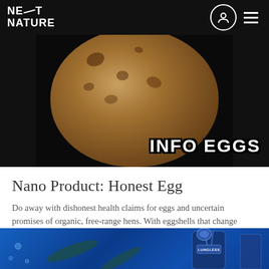NEXT NATURE
[Figure (photo): Dark background image showing a large brown egg-like sphere with spots, on a black background, with bold white text overlay reading INFO EGGS]
Nano Product: Honest Egg
Do away with dishonest health claims for eggs and uncertain promises of organic, free-range hens. With eggshells that change color according to hormones, medicines, and nutrients, …
[Figure (photo): Underwater scene with divers swimming in blue water, and a figure with a LUNGLESS branded device/suit on the right side]